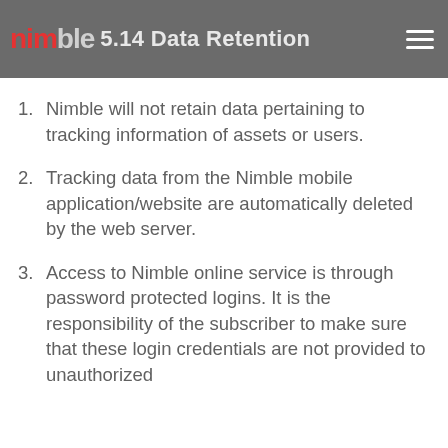nimble | 5.14 Data Retention
Nimble will not retain data pertaining to tracking information of assets or users.
Tracking data from the Nimble mobile application/website are automatically deleted by the web server.
Access to Nimble online service is through password protected logins. It is the responsibility of the subscriber to make sure that these login credentials are not provided to unauthorized